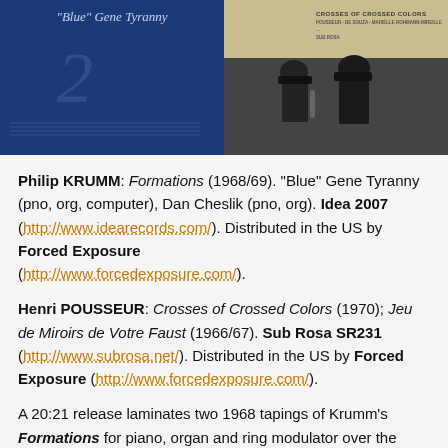[Figure (photo): Two album cover images side by side. Left: Blue Gene Tyranny album with dark blue background and italic cursive title text. Right: Crosses of Crossed Colors album showing two men with instruments in black and white photo against a tan/cream background with text overlay.]
Philip KRUMM: Formations (1968/69). "Blue" Gene Tyranny (pno, org, computer), Dan Cheslik (pno, org). Idea 2007 (http://www.idearecords.com/). Distributed in the US by Forced Exposure (http://www.forcedexposure.com/).
Henri POUSSEUR: Crosses of Crossed Colors (1970); Jeu de Miroirs de Votre Faust (1966/67). Sub Rosa SR231 (http://www.subrosa.net/). Distributed in the US by Forced Exposure (http://www.forcedexposure.com/).
A 20:21 release laminates two 1968 tapings of Krumm's Formations for piano, organ and ring modulator over the